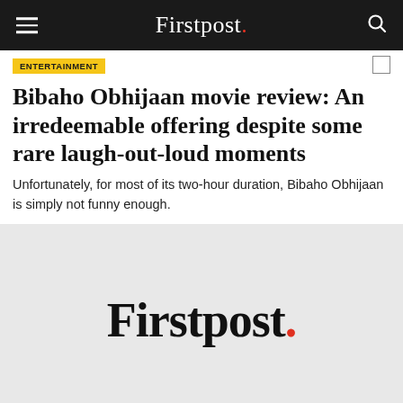Firstpost.
ENTERTAINMENT
Bibaho Obhijaan movie review: An irredeemable offering despite some rare laugh-out-loud moments
Unfortunately, for most of its two-hour duration, Bibaho Obhijaan is simply not funny enough.
[Figure (logo): Firstpost logo in large bold serif font with a red period, displayed on a light gray background]